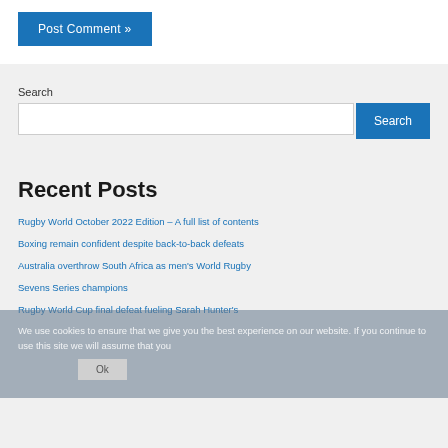Post Comment »
Search
Recent Posts
Rugby World October 2022 Edition – A full list of contents
Boxing remain confident despite back-to-back defeats
Australia overthrow South Africa as men's World Rugby Sevens Series champions
Rugby World Cup final defeat fueling Sarah Hunter's
We use cookies to ensure that we give you the best experience on our website. If you continue to use this site we will assume that you